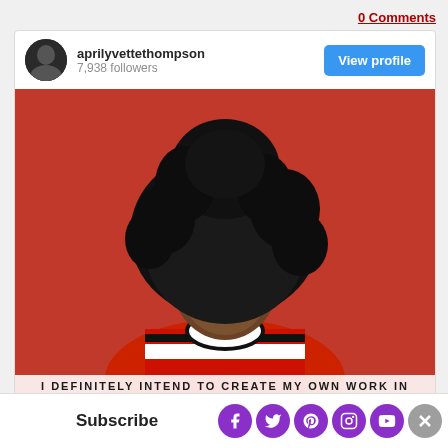0 Comments
aprilyvettethompson
7,938 followers
[Figure (photo): Instagram profile card showing aprilyvettethompson with 7,938 followers and a View profile button, with a photo of a Black woman with a large natural afro hairstyle against a red background, wearing a red and white striped turtleneck sweater. Overlay text at bottom reads: I DEFINITELY INTEND TO CREATE MY OWN WORK IN]
Subscribe